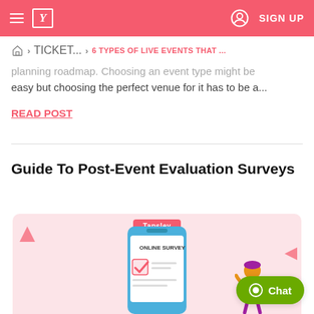≡  Y  (user icon)  SIGN UP
🏠 > TICKET... > 6 TYPES OF LIVE EVENTS THAT ...
planning roadmap. Choosing an event type might be easy but choosing the perfect venue for it has to be a...
READ POST
Guide To Post-Event Evaluation Surveys
[Figure (illustration): Illustration of a mobile phone showing an online survey form with a checkmark, a character pointing at it, and a Tapsley badge at the top. Pink background with triangle decorations.]